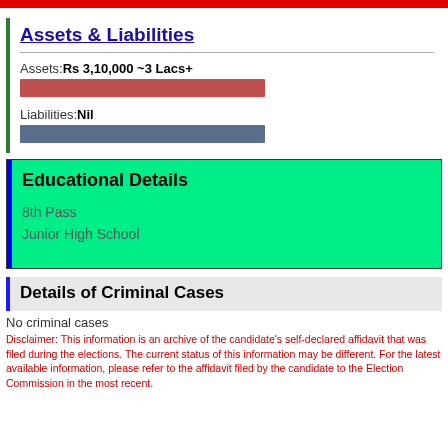Assets & Liabilities
Assets: Rs 3,10,000 ~3 Lacs+
[Figure (bar-chart): Assets bar]
Liabilities: Nil
Educational Details
8th Pass
Junior High School
Details of Criminal Cases
No criminal cases
Disclaimer: This information is an archive of the candidate's self-declared affidavit that was filed during the elections. The current status of this information may be different. For the latest available information, please refer to the affidavit filed by the candidate to the Election Commission in the most recent.